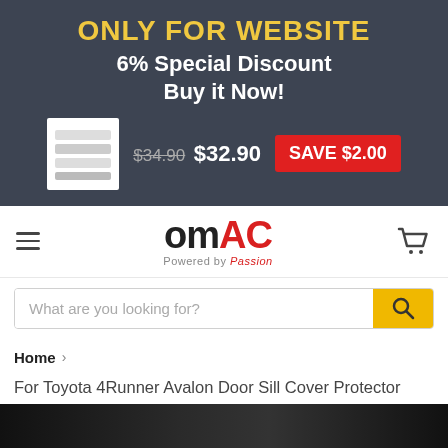ONLY FOR WEBSITE
6% Special Discount
Buy it Now!
$34.90  $32.90  SAVE $2.00
[Figure (logo): OMAC logo - black O, red AC text, Powered by Passion tagline]
What are you looking for?
Home > For Toyota 4Runner Avalon Door Sill Cover Protector Guard Flexible S. Steel Trim
[Figure (photo): Dark product photo at the bottom of the page]